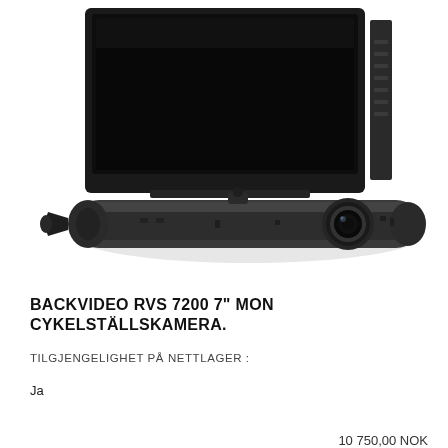[Figure (photo): Product photo showing a car backup camera system: a large black rectangular touchscreen monitor/head unit and a cylindrical bar-style rear camera with a lens on the right side, photographed on white background.]
BACKVIDEO RVS 7200 7" MON CYKELSTÄLLSKAMERA.
TILGJENGELIGHET PÅ NETTLAGER :
Ja
10 750,00 NOK